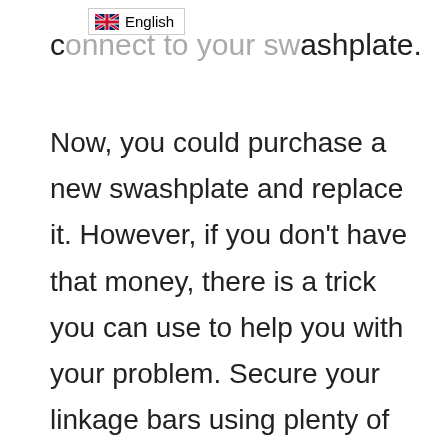[Figure (other): UK flag language selector badge showing 'English']
connect to your swashplate.
Now, you could purchase a new swashplate and replace it. However, if you don't have that money, there is a trick you can use to help you with your problem. Secure your linkage bars using plenty of model glue going around the swashplate where you used to have the ball links. Let the glue dry, and your swashplate will be like new. Some